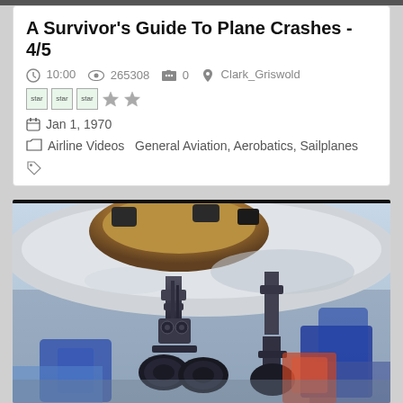A Survivor's Guide To Plane Crashes - 4/5
10:00  265308  0  Clark_Griswold
star star star ★★
Jan 1, 1970
Airline Videos  General Aviation, Aerobatics, Sailplanes
[Figure (photo): Close-up underside view of aircraft landing gear and engine housing on a tarmac, with blue and colorful background elements visible]